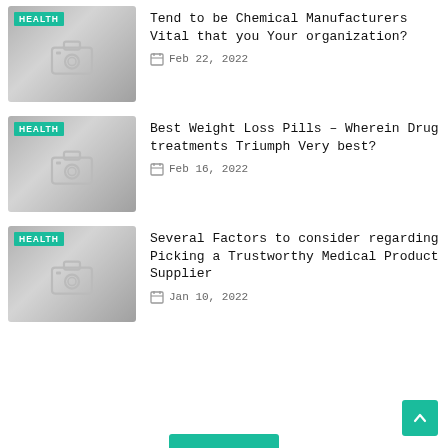[Figure (photo): Thumbnail placeholder with HEALTH badge and camera icon, gradient gray background]
Tend to be Chemical Manufacturers Vital that you Your organization?
Feb 22, 2022
[Figure (photo): Thumbnail placeholder with HEALTH badge and camera icon, gradient gray background]
Best Weight Loss Pills – Wherein Drug treatments Triumph Very best?
Feb 16, 2022
[Figure (photo): Thumbnail placeholder with HEALTH badge and camera icon, gradient gray background]
Several Factors to consider regarding Picking a Trustworthy Medical Product Supplier
Jan 10, 2022